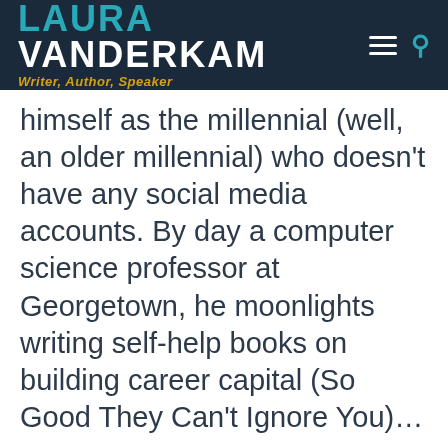LAURA VANDERKAM — Writer, Author, Speaker
himself as the millennial (well, an older millennial) who doesn't have any social media accounts. By day a computer science professor at Georgetown, he moonlights writing self-help books on building career capital (So Good They Can't Ignore You)…